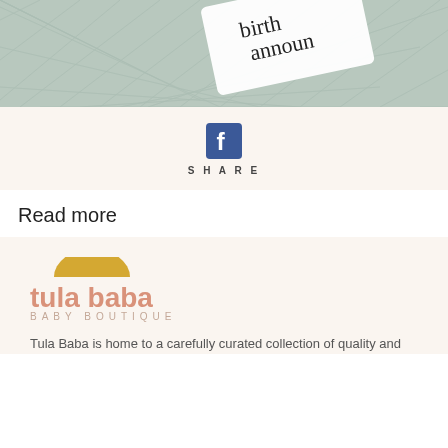[Figure (photo): Photo of a birth announcement card resting on a sage green quilted fabric surface, with cursive text partially visible reading 'birth announce']
[Figure (logo): Facebook share button with 'f' logo icon and 'SHARE' text below it, on a cream/beige background]
Read more
[Figure (logo): Tula Baba Baby Boutique logo featuring a golden/yellow semicircle sun shape above the text 'tula baba' in salmon/terracotta color and 'BABY BOUTIQUE' in smaller spaced letters below, on a cream background]
Tula Baba is home to a carefully curated collection of quality and